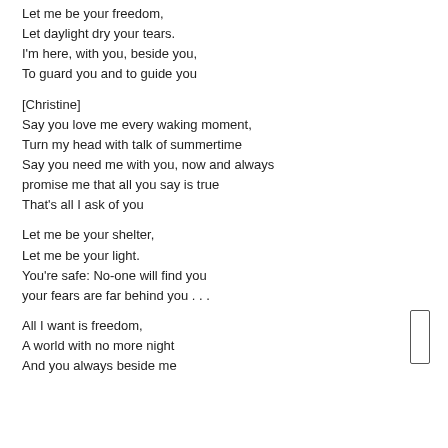Let me be your freedom,
Let daylight dry your tears.
I'm here, with you, beside you,
To guard you and to guide you
[Christine]
Say you love me every waking moment,
Turn my head with talk of summertime
Say you need me with you, now and always
promise me that all you say is true
That's all I ask of you
Let me be your shelter,
Let me be your light.
You're safe: No-one will find you
your fears are far behind you . . .
All I want is freedom,
A world with no more night
And you always beside me